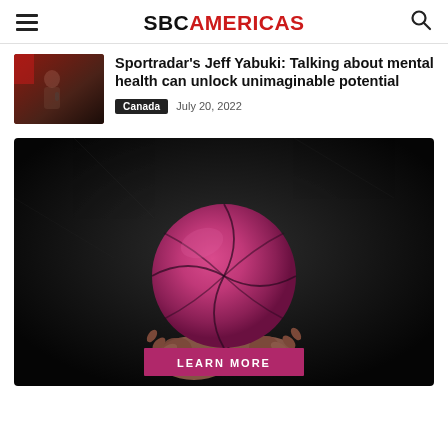SBC AMERICAS
Sportradar's Jeff Yabuki: Talking about mental health can unlock unimaginable potential
Canada  July 20, 2022
[Figure (photo): Hands holding a pink/magenta basketball against a dark background, with a 'LEARN MORE' button overlay at the bottom center.]